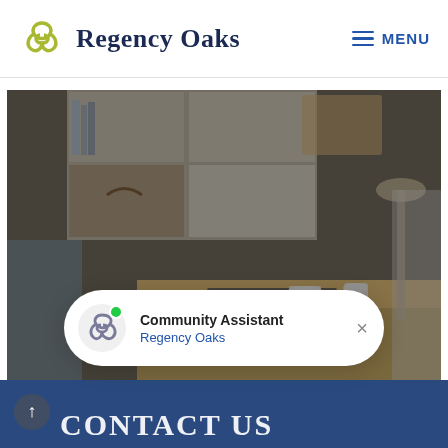Regency Oaks | MENU
[Figure (photo): Interior living room scene with a wooden coffee table, laptop, cup and saucer, small white pot, and shelving unit with storage boxes in the background. Dimmed/darkened photo.]
[Figure (infographic): Chat widget popup showing Regency Oaks logo icon, green online dot, text 'Community Assistant / Regency Oaks', and a close X button.]
Community Assistant
Regency Oaks
CONTACT US